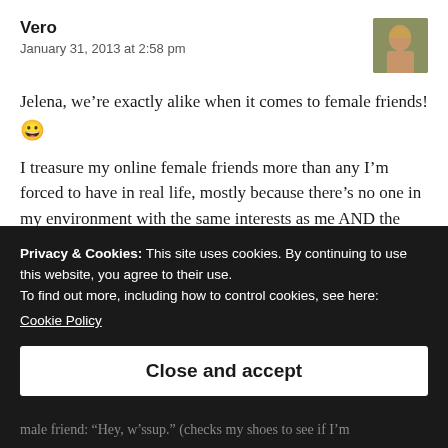Vero
January 31, 2013 at 2:58 pm
Jelena, we're exactly alike when it comes to female friends! 😀
I treasure my online female friends more than any I'm forced to have in real life, mostly because there's no one in my environment with the same interests as me AND the
Privacy & Cookies: This site uses cookies. By continuing to use this website, you agree to their use.
To find out more, including how to control cookies, see here:
Cookie Policy
Close and accept
male friend: "Hey, w'ssup." (checks my shoes to see if I'm